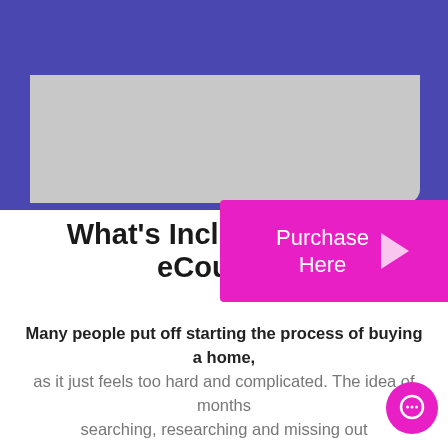eCourse for $37, normally $97
[Figure (illustration): Pink 'Purchase Here' button with a right-pointing triangle arrow, set inside a gray box within a purple/indigo border area]
What's Included In The eCourse?
Many people put off starting the process of buying a home, as it just feels too hard and complicated. The idea of months searching, researching and missing out